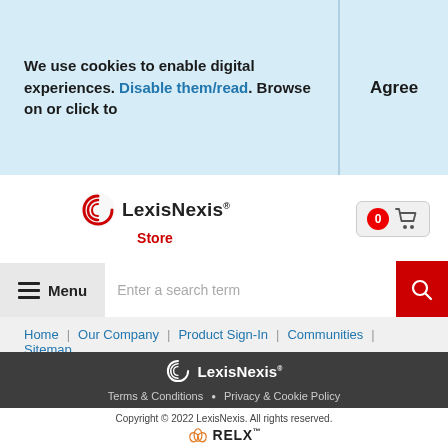We use cookies to enable digital experiences. Disable them/read. Browse on or click to
Agree
[Figure (logo): LexisNexis Store logo with red spiral icon]
[Figure (other): Shopping cart button with 0 badge]
Menu
Enter a search term
Home | Our Company | Product Sign-In | Communities | Sitemap | Support
[Figure (logo): LexisNexis white logo in dark footer]
Terms & Conditions • Privacy & Cookie Policy
Copyright © 2022 LexisNexis. All rights reserved.
[Figure (logo): RELX logo in orange]